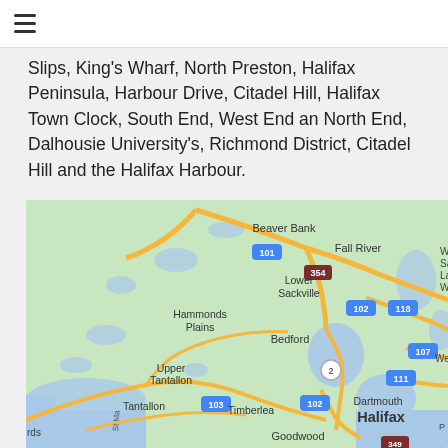≡ (hamburger menu icon)
Slips, King's Wharf, North Preston, Halifax Peninsula, Harbour Drive, Citadel Hill, Halifax Town Clock, South End, West End an North End, Dalhousie University's, Richmond District, Citadel Hill and the Halifax Harbour.
[Figure (map): Google Maps view of Halifax, Nova Scotia area showing suburbs including Beaver Bank, Fall River, Lower Sackville, Hammonds Plains, Bedford, Upper Tantallon, Tantallon, Timberlea, Dartmouth, Halifax, Goodwood. Road numbers 101, 102, 103, 107, 111, 118, 354, 2 are visible.]